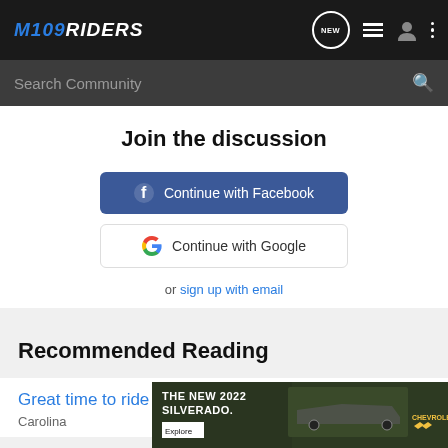M109Riders — navigation header with logo, NEW button, list icon, user icon, more options
Search Community
Join the discussion
Continue with Facebook
Continue with Google
or sign up with email
Recommended Reading
Great time to ride
Carolina
[Figure (screenshot): Chevrolet Silverado 2022 advertisement banner showing truck and Chevrolet logo with 'THE NEW 2022 SILVERADO.' text and 'Explore' button]